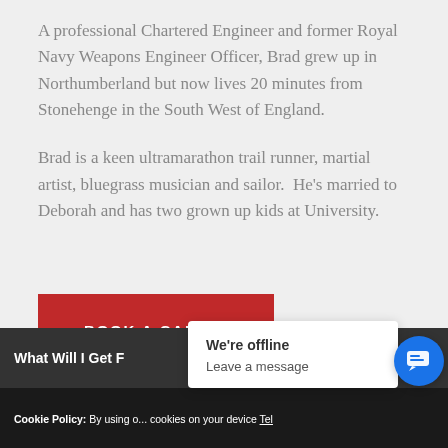A professional Chartered Engineer and former Royal Navy Weapons Engineer Officer, Brad grew up in Northumberland but now lives 20 minutes from Stonehenge in the South West of England.
Brad is a keen ultramarathon trail runner, martial artist, bluegrass musician and sailor.  He's married to Deborah and has two grown up kids at University.
BOOK A CALL >
What Will I Get F...
Cookie Policy: By using our site you accept that we place cookies on your device Tel...
We're offline
Leave a message